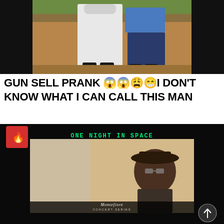[Figure (photo): Two people standing outdoors on a dirt ground with green grass in background. One person wears a long white robe/dress, the other wears jeans and a blue shirt.]
GUN SELL PRANK 😱😱😩😁I DON'T KNOW WHAT I CAN CALL THIS MAN
[Figure (screenshot): Video thumbnail showing a Black man wearing a cowboy hat and glasses in an indoor setting. Green text overlay reads 'ONE NIGHT IN SPACE'. At the bottom is a Montefiore Concert Series logo/banner. A red fire badge icon is in the top-left corner. A white scroll-up arrow is in the bottom-right.]